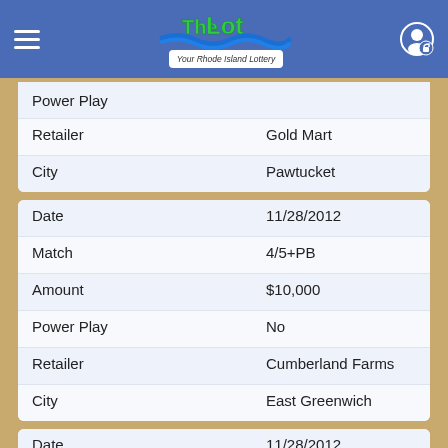The Lot - Your Rhode Island Lottery
| Field | Value |
| --- | --- |
| Power Play |  |
| Retailer | Gold Mart |
| City | Pawtucket |
| Field | Value |
| --- | --- |
| Date | 11/28/2012 |
| Match | 4/5+PB |
| Amount | $10,000 |
| Power Play | No |
| Retailer | Cumberland Farms |
| City | East Greenwich |
| Field | Value |
| --- | --- |
| Date | 11/28/2012 |
| Match | 4/5+PB |
| Amount | $10,000 |
| Power Play | No |